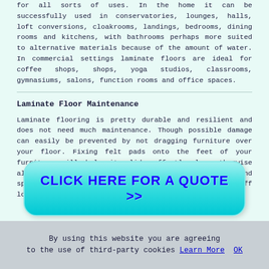for all sorts of uses. In the home it can be successfully used in conservatories, lounges, halls, loft conversions, cloakrooms, landings, bedrooms, dining rooms and kitchens, with bathrooms perhaps more suited to alternative materials because of the amount of water. In commercial settings laminate floors are ideal for coffee shops, shops, yoga studios, classrooms, gymnasiums, salons, function rooms and office spaces.
Laminate Floor Maintenance
Laminate flooring is pretty durable and resilient and does not need much maintenance. Though possible damage can easily be prevented by not dragging furniture over your floor. Fixing felt pads onto the feet of your furniture will help it slide effortlessly, otherwise always lift furniture when moving it. Clean stains and spills with a damp (not soaking wet) mop and lift off loose dirt and dust with a microfibre mop or cloth.
[Figure (other): Cyan rounded-rectangle button with bold blue text: CLICK HERE FOR A QUOTE >>]
By using this website you are agreeing to the use of third-party cookies Learn More  OK